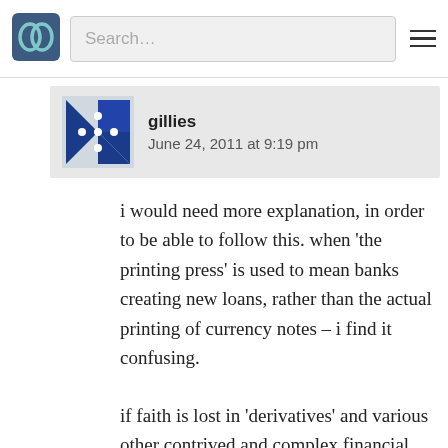[Figure (logo): Scribd-style double circle logo icon in teal/dark color]
Search…
gillies
June 24, 2011 at 9:19 pm
i would need more explanation, in order to be able to follow this. when 'the printing press' is used to mean banks creating new loans, rather than the actual printing of currency notes – i find it confusing.
if faith is lost in 'derivatives' and various other contrived and complex financial assets – then a lot of money disappears very quickly.